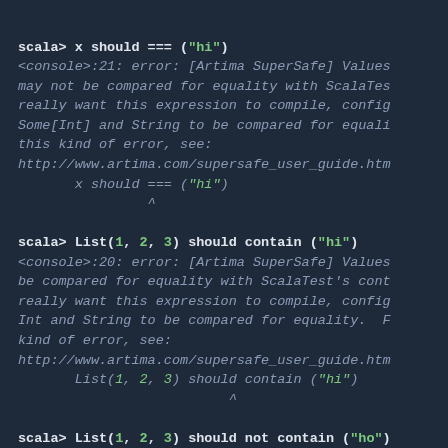[Figure (screenshot): Scala REPL terminal screenshot showing three code examples with compiler errors from Artima SuperSafe plugin. Dark blue background with monospaced green and grey text. Three sections: (1) x should === ("hi"), (2) List(1, 2, 3) should contain ("hi"), (3) List(1, 2, 3) should not contain ("ho"), each followed by error messages about type mismatches.]